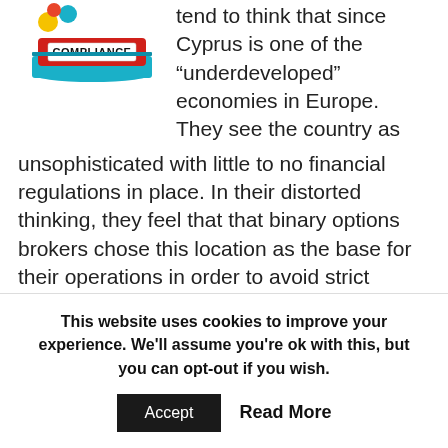[Figure (logo): Compliance logo: stack of books with teal/blue pages and red cover labeled COMPLIANCE in bold black text, with colored dots above]
tend to think that since Cyprus is one of the “underdeveloped” economies in Europe. They see the country as unsophisticated with little to no financial regulations in place. In their distorted thinking, they feel that that binary options brokers chose this location as the base for their operations in order to avoid strict regulations, when in reality the reason is that taxes are much lower in Cyprus.
In the U.K. corporate profits are taxed at 24% and this rate is even higher in the U.S., where companies can be taxed as high as 35%. However, taxes are only 10% in Cyprus. In light of this, it...
This website uses cookies to improve your experience. We'll assume you're ok with this, but you can opt-out if you wish.